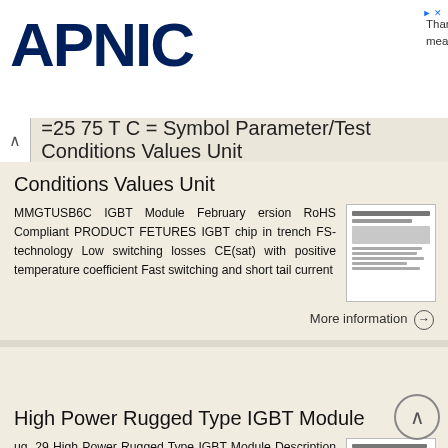APNIC — Thank you for helping us measure the Internet.
=25 75 T C = Symbol Parameter/Test Conditions Values Unit
MMGTUSB6C IGBT Module February ersion RoHS Compliant PRODUCT FETURES IGBT chip in trench FS-technology Low switching losses CE(sat) with positive temperature coefficient Fast switching and short tail current
More information →
High Power Rugged Type IGBT Module
ug. 29 High Power Rugged Type IGBT Module Description DWIN S IGBT 7DM3 Package devices are optimized to reduce losses and switching noise in high frequency power conditioning electrical systems. These